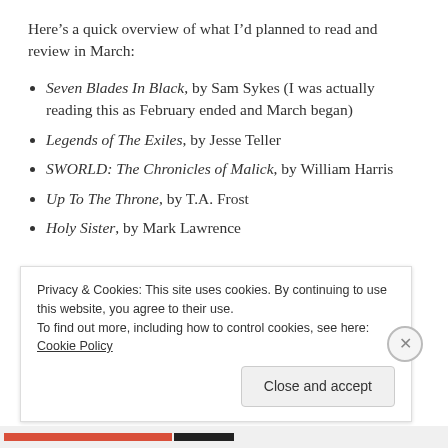Here's a quick overview of what I'd planned to read and review in March:
Seven Blades In Black, by Sam Sykes (I was actually reading this as February ended and March began)
Legends of The Exiles, by Jesse Teller
SWORLD: The Chronicles of Malick, by William Harris
Up To The Throne, by T.A. Frost
Holy Sister, by Mark Lawrence
Privacy & Cookies: This site uses cookies. By continuing to use this website, you agree to their use.
To find out more, including how to control cookies, see here: Cookie Policy
Close and accept